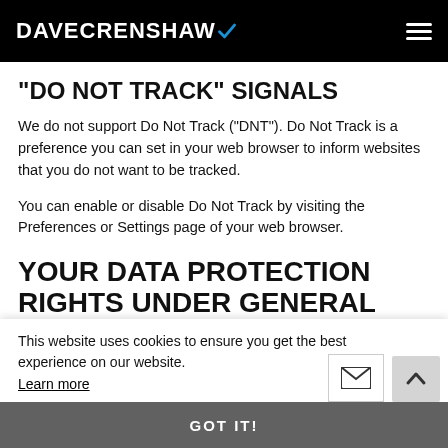DAVECRENSHAW
“DO NOT TRACK” SIGNALS
We do not support Do Not Track (“DNT”). Do Not Track is a preference you can set in your web browser to inform websites that you do not want to be tracked.
You can enable or disable Do Not Track by visiting the Preferences or Settings page of your web browser.
YOUR DATA PROTECTION RIGHTS UNDER GENERAL DATA PROTECTION
This website uses cookies to ensure you get the best experience on our website.
Learn more
GOT IT!